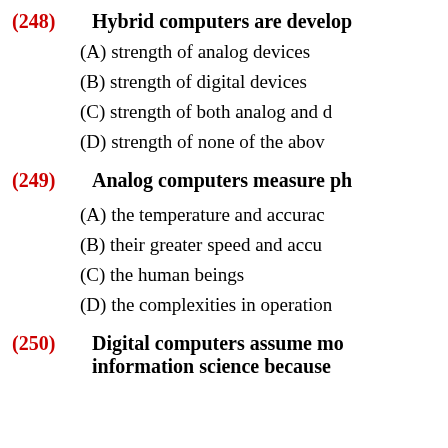(248) Hybrid computers are developed to take advantage of the...
(A) strength of analog devices
(B) strength of digital devices
(C) strength of both analog and digital devices
(D) strength of none of the above
(249) Analog computers measure physical quantities by...
(A) the temperature and accuracy
(B) their greater speed and accuracy
(C) the human beings
(D) the complexities in operation
(250) Digital computers assume more importance in information science because...